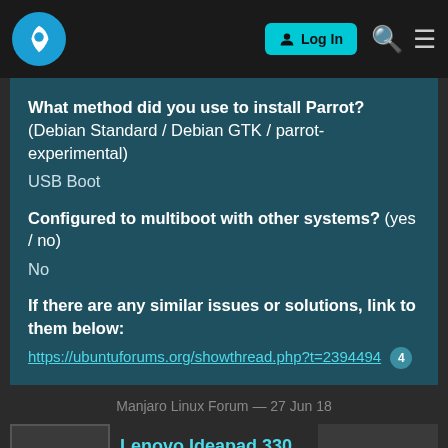Log In
What method did you use to install Parrot? (Debian Standard / Debian GTK / parrot-experimental)
USB Boot
Configured to multiboot with other systems? (yes / no)
No
If there are any similar issues or solutions, link to them below:
https://ubuntuforums.org/showthread.php?t=2394494 4
Manjaro Linux Forum — 27 Jun 18
Lenovo Ideapad 330 to working 5
1 / 7